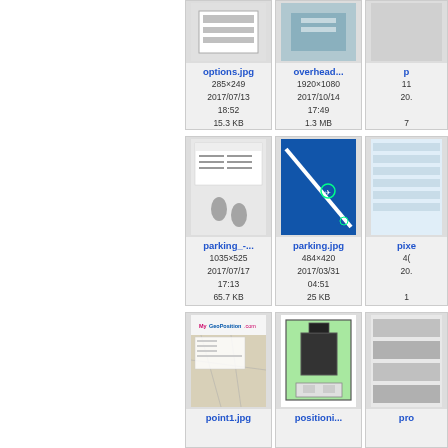[Figure (screenshot): File thumbnail grid showing options.jpg (285x249, 2017/07/13 18:52, 15.3 KB), overhead... (1920x1080, 2017/10/14 17:49, 1.3 MB), parking_-... (1035x525, 2017/07/17 17:13, 65.7 KB), parking.jpg (484x420, 2017/03/31 04:51, 25 KB), point1.jpg, positioni..., pro... and more partially visible]
options.jpg
285×249
2017/07/13 18:52
15.3 KB
overhead...
1920×1080
2017/10/14 17:49
1.3 MB
parking_-...
1035×525
2017/07/17 17:13
65.7 KB
parking.jpg
484×420
2017/03/31 04:51
25 KB
point1.jpg
positioni...
pro...